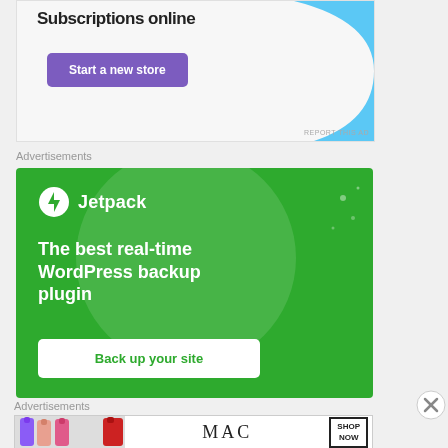[Figure (illustration): Top advertisement banner with text 'Subscriptions online', purple 'Start a new store' button, and blue decorative shape on right. 'REPORT THIS AD' text at bottom right.]
Advertisements
[Figure (illustration): Jetpack advertisement on green background. Logo: circle with lightning bolt icon and 'Jetpack' text. Large text: 'The best real-time WordPress backup plugin'. White button: 'Back up your site'.]
[Figure (illustration): Close/X button circle icon]
Advertisements
[Figure (illustration): MAC cosmetics advertisement showing lipsticks in purple, pink and red shades, MAC logo, and 'SHOP NOW' box.]